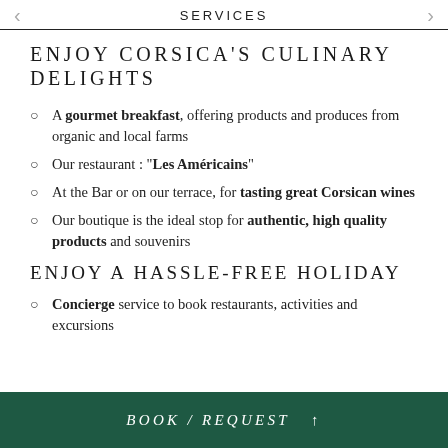SERVICES
ENJOY CORSICA'S CULINARY DELIGHTS
A gourmet breakfast, offering products and produces from organic and local farms
Our restaurant : "Les Américains"
At the Bar or on our terrace, for tasting great Corsican wines
Our boutique is the ideal stop for authentic, high quality products and souvenirs
ENJOY A HASSLE-FREE HOLIDAY
Concierge service to book restaurants, activities and excursions
BOOK / REQUEST ↑